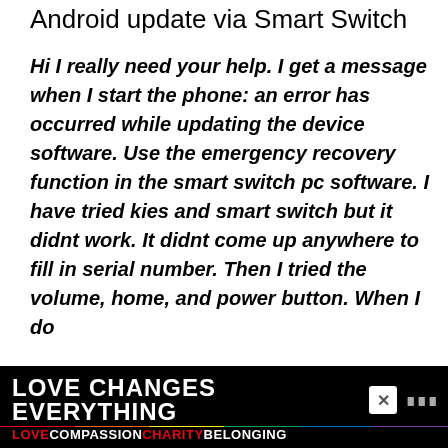Android update via Smart Switch
Hi I really need your help. I get a message when I start the phone: an error has occurred while updating the device software. Use the emergency recovery function in the smart switch pc software. I have tried kies and smart switch but it didnt work. It didnt come up anywhere to fill in serial number. Then I tried the volume, home, and power button. When I do it can
[Figure (other): Advertisement banner at the bottom of the page. Black background with rainbow colored bar. Text reads 'LOVE CHANGES EVERYTHING' in white bold uppercase. Below: LOVE (red), COMPASSION (white), CHARITY (red), BELONGING (white). A close button (X) on the right and a logo icon.]